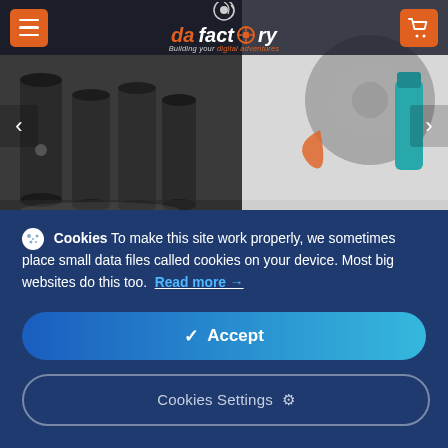[Figure (screenshot): Website header with hamburger menu button (orange), da factory logo in center, and shopping cart button (orange) on right]
[Figure (photo): Hero banner image showing dark film canisters/lens accessories on left half and camera equipment with teal/blue bottle on right half with left/right navigation arrows]
Cookies To make this site work properly, we sometimes place small data files called cookies on your device. Most big websites do this too. Read more →
Accept
Cookies Settings ⚙